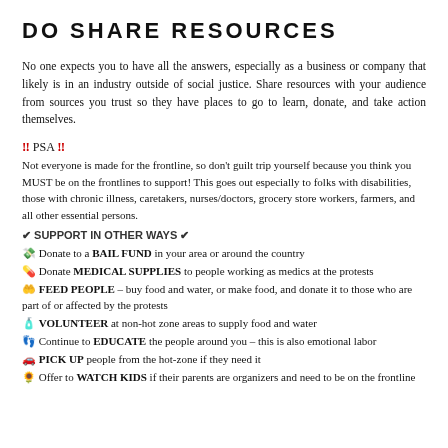DO SHARE RESOURCES
No one expects you to have all the answers, especially as a business or company that likely is in an industry outside of social justice. Share resources with your audience from sources you trust so they have places to go to learn, donate, and take action themselves.
‼ PSA ‼
Not everyone is made for the frontline, so don't guilt trip yourself because you think you MUST be on the frontlines to support! This goes out especially to folks with disabilities, those with chronic illness, caretakers, nurses/doctors, grocery store workers, farmers, and all other essential persons.
✔ SUPPORT IN OTHER WAYS ✔
💸 Donate to a BAIL FUND in your area or around the country
💊 Donate MEDICAL SUPPLIES to people working as medics at the protests
🤲 FEED PEOPLE – buy food and water, or make food, and donate it to those who are part of or affected by the protests
🧴 VOLUNTEER at non-hot zone areas to supply food and water
🦶 Continue to EDUCATE the people around you – this is also emotional labor
🚗 PICK UP people from the hot-zone if they need it
🌻 Offer to WATCH KIDS if their parents are organizers and need to be on the frontline